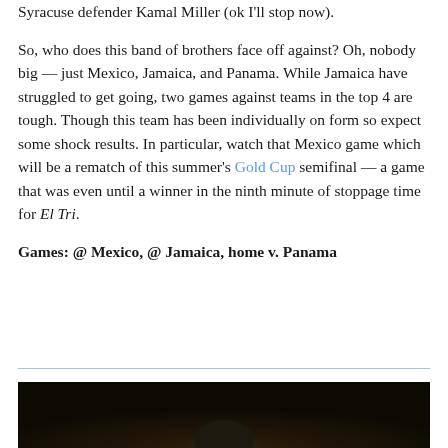Syracuse defender Kamal Miller (ok I'll stop now).
So, who does this band of brothers face off against? Oh, nobody big — just Mexico, Jamaica, and Panama. While Jamaica have struggled to get going, two games against teams in the top 4 are tough. Though this team has been individually on form so expect some shock results. In particular, watch that Mexico game which will be a rematch of this summer's Gold Cup semifinal — a game that was even until a winner in the ninth minute of stoppage time for El Tri.
Games: @ Mexico, @ Jamaica, home v. Panama
[Figure (photo): Dark background photo showing a person's head/silhouette at bottom, partially cropped]